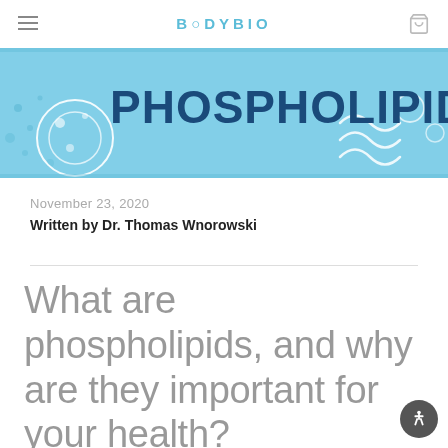BODYBIO
[Figure (illustration): Blue hero banner with white illustrated cell/phospholipid diagram and text 'PHOSPHOLIPIDS?' in bold dark blue letters on a light blue background]
November 23, 2020
Written by Dr. Thomas Wnorowski
What are phospholipids, and why are they important for your health?